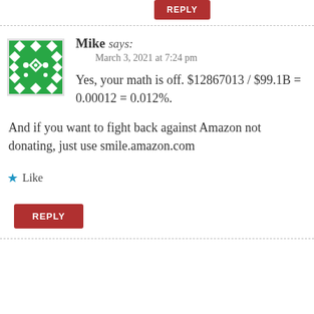[Figure (other): Red REPLY button at top of page (partially cropped)]
Mike says:
March 3, 2021 at 7:24 pm
Yes, your math is off. $12867013 / $99.1B = 0.00012 = 0.012%.

And if you want to fight back against Amazon not donating, just use smile.amazon.com
★ Like
[Figure (other): Red REPLY button]